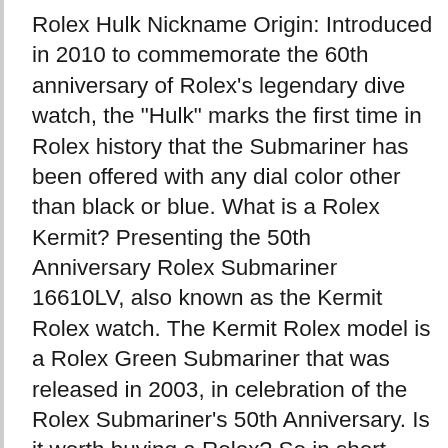Rolex Hulk Nickname Origin: Introduced in 2010 to commemorate the 60th anniversary of Rolex's legendary dive watch, the "Hulk" marks the first time in Rolex history that the Submariner has been offered with any dial color other than black or blue. What is a Rolex Kermit? Presenting the 50th Anniversary Rolex Submariner 16610LV, also known as the Kermit Rolex watch. The Kermit Rolex model is a Rolex Green Submariner that was released in 2003, in celebration of the Rolex Submariner's 50th Anniversary. Is it worth buying a Rolex? So in short, yes, a rolex can be worth it. Remember its not an investment. If you want your $9000 to grow steadily in value then you are far better off finding some good long term growth shares with healthy dividend returns etc. Rolex is not an appreciating asset unless you are buying a rare antique. Why are Rolex Submariners so